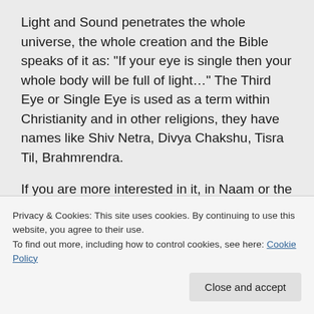Light and Sound penetrates the whole universe, the whole creation and the Bible speaks of it as: “If your eye is single then your whole body will be full of light…” The Third Eye or Single Eye is used as a term within Christianity and in other religions, they have names like Shiv Netra, Divya Chakshu, Tisra Til, Brahmrendra.
If you are more interested in it, in Naam or the two-folded aspects of God’s creation, of
Privacy & Cookies: This site uses cookies. By continuing to use this website, you agree to their use.
To find out more, including how to control cookies, see here: Cookie Policy